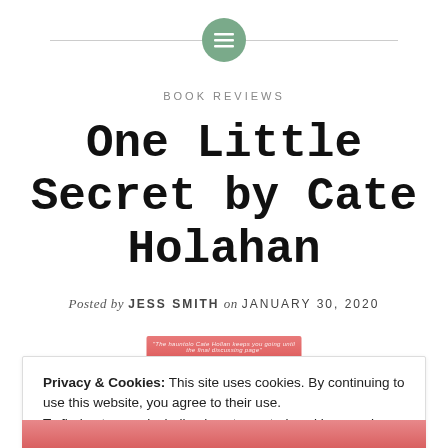BOOK REVIEWS
One Little Secret by Cate Holahan
Posted by JESS SMITH on JANUARY 30, 2020
[Figure (other): Book cover peek — pink/red top strip with faint italic quote text]
Privacy & Cookies: This site uses cookies. By continuing to use this website, you agree to their use.
To find out more, including how to control cookies, see here: Cookie Policy
Close and accept